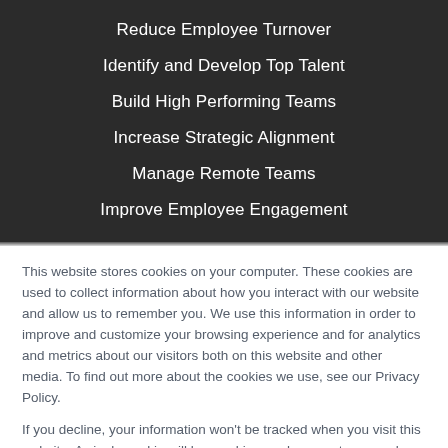Reduce Employee Turnover
Identify and Develop Top Talent
Build High Performing Teams
Increase Strategic Alignment
Manage Remote Teams
Improve Employee Engagement
This website stores cookies on your computer. These cookies are used to collect information about how you interact with our website and allow us to remember you. We use this information in order to improve and customize your browsing experience and for analytics and metrics about our visitors both on this website and other media. To find out more about the cookies we use, see our Privacy Policy.
If you decline, your information won't be tracked when you visit this website. A single cookie will be used in your browser to remember your preference not to be tracked.
Accept
Decline